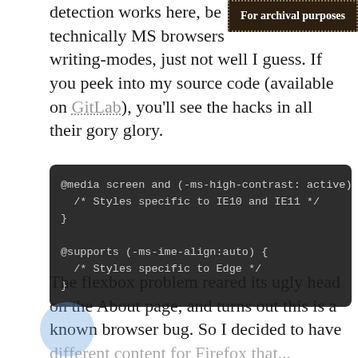detection works here, be technically MS browsers writing-modes, just not well I guess. If you peek into my source code (available on GitLab), you'll see the hacks in all their gory glory.
[Figure (other): Dark banner stamp in top-right corner reading 'For archival purposes' with dotted border on dark brown background]
The flexbox problem reared its ugly head on the About page, and turns out this is a known browser bug. So I decided to have different content for Firefox that...